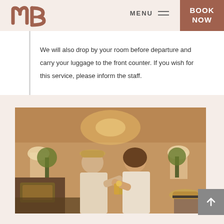[Figure (logo): NB hotel logo in terracotta/brown color]
MENU
BOOK NOW
We will also drop by your room before departure and carry your luggage to the front counter. If you wish for this service, please inform the staff.
[Figure (photo): A couple toasting drinks in a warmly lit hotel lounge. The man wears a hat and casual clothes, and the woman wears white. In the background are lamps, plants, and a hat on a chair.]